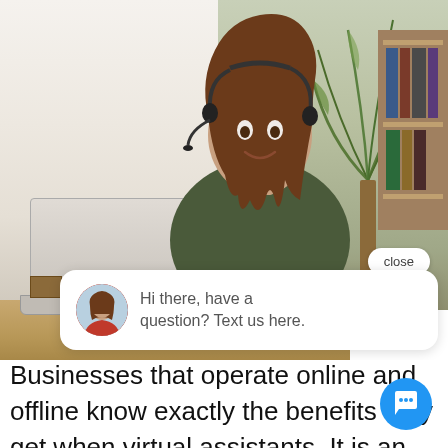[Figure (photo): A smiling woman wearing a headset sitting at a home office with a laptop, plant, and bookshelf in the background. A chat widget overlay shows a close button and a chat bubble with an avatar saying 'Hi there, have a question? Text us here.']
Businesses that operate online and offline know exactly the benefits they get when virtual assistants. It is an efficient and